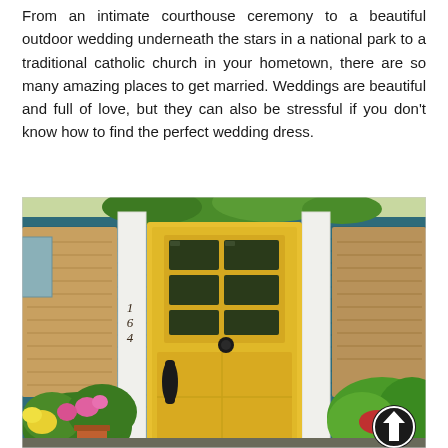From an intimate courthouse ceremony to a beautiful outdoor wedding underneath the stars in a national park to a traditional catholic church in your hometown, there are so many amazing places to get married. Weddings are beautiful and full of love, but they can also be stressful if you don't know how to find the perfect wedding dress.
[Figure (photo): Photograph of a bright yellow front door with six glass panes on a blue house with white trim columns, house number 164 on the left column, black door knocker and handle, surrounded by lush green plants and colorful flowers, with a circular arrow-up icon in the bottom right corner.]